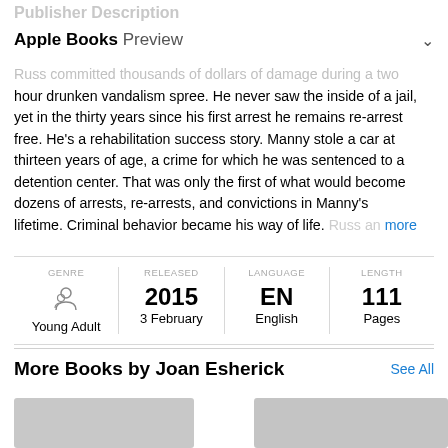Publisher Description
Apple Books Preview
Russ committed thousands of dollars of damage during a two hour drunken vandalism spree. He never saw the inside of a jail, yet in the thirty years since his first arrest he remains re-arrest free. He's a rehabilitation success story. Manny stole a car at thirteen years of age, a crime for which he was sentenced to a detention center. That was only the first of what would become dozens of arrests, re-arrests, and convictions in Manny's lifetime. Criminal behavior became his way of life. Russ an more
| GENRE | RELEASED | LANGUAGE | LENGTH |
| --- | --- | --- | --- |
| Young Adult | 2015
3 February | EN
English | 111
Pages |
More Books by Joan Esherick
[Figure (illustration): Partial book cover thumbnails at the bottom of the page]